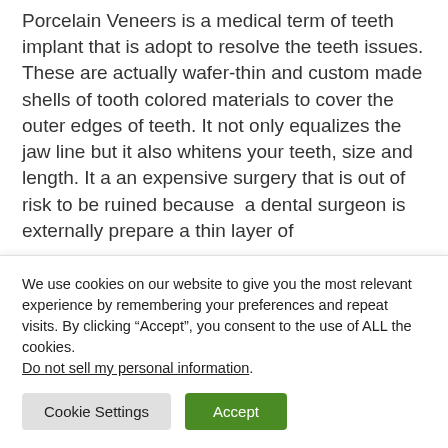Porcelain Veneers is a medical term of teeth implant that is adopt to resolve the teeth issues. These are actually wafer-thin and custom made shells of tooth colored materials to cover the outer edges of teeth. It not only equalizes the jaw line but it also whitens your teeth, size and length. It a an expensive surgery that is out of risk to be ruined because  a dental surgeon is externally prepare a thin layer of
We use cookies on our website to give you the most relevant experience by remembering your preferences and repeat visits. By clicking “Accept”, you consent to the use of ALL the cookies. Do not sell my personal information.